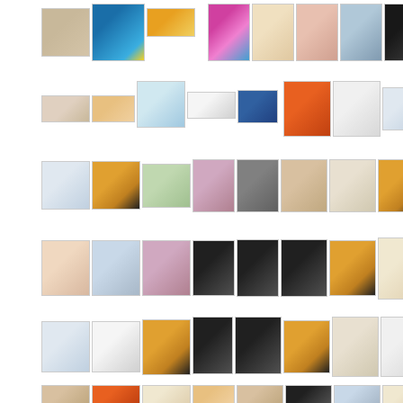[Figure (photo): Grid of thumbnail images arranged in 6 rows showing art exhibitions, portraits, book covers, event posters, and gallery/museum content]
[Figure (photo): Row 1: gallery interior, colorful art display, orange poster, colorful event flyer, people in white coats, people in white coats variant, waterfall/sculpture, dark figure sculpture]
[Figure (photo): Row 2: blurred image, Jewish Museum logo, newspaper/document, dense text document, blue Hiranga logo, orange fair art, Street Art Fair poster red, Street Art Fair poster white, colorful mosaic]
[Figure (photo): Row 3: colorful mosaic, Street Art text, Hebrew Union College logo, woman portrait, woman portrait variant, artist at work, woman with glasses, art conference poster]
[Figure (photo): Row 4: woman portrait, woman portrait 2, woman portrait 3, black server/device, black server variant, open book sculpture, art conference, pencil figure sketch]
[Figure (photo): Row 5: glass building interior, text list, art conference poster, black and white woman portrait, black and white rotunda interior, art conference 2, event flyer with portrait, circular emblem/logo]
[Figure (photo): Row 6: sculptural forms, sculptural forms 2, sculptural forms 3, wooden interior, wooden interior 2, dark gallery, lit corridor, architectural]